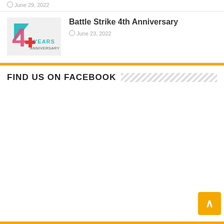June 29, 2022
Battle Strike 4th Anniversary
June 23, 2022
[Figure (logo): 4 Years Anniversary logo with a large pink/red number 4 and teal triangle, with a red cross symbol and text YEARS ANNIVERSARY]
FIND US ON FACEBOOK